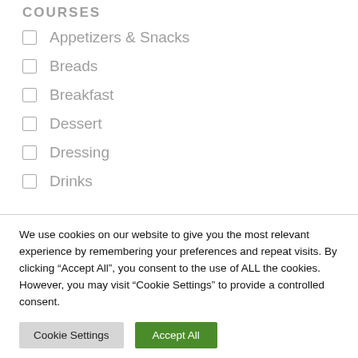COURSES
Appetizers & Snacks
Breads
Breakfast
Dessert
Dressing
Drinks
We use cookies on our website to give you the most relevant experience by remembering your preferences and repeat visits. By clicking “Accept All”, you consent to the use of ALL the cookies. However, you may visit “Cookie Settings” to provide a controlled consent.
Cookie Settings | Accept All